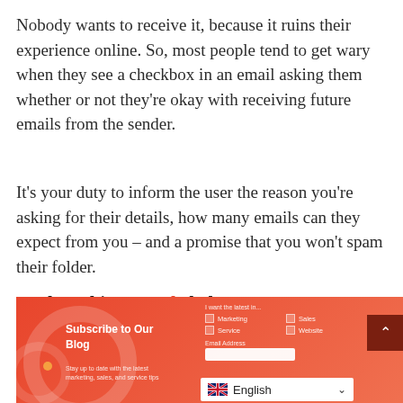Nobody wants to receive it, because it ruins their experience online. So, most people tend to get wary when they see a checkbox in an email asking them whether or not they're okay with receiving future emails from the sender.
It's your duty to inform the user the reason you're asking for their details, how many emails can they expect from you – and a promise that you won't spam their folder.
Look at this example below:
[Figure (screenshot): A website subscription widget with an orange/red gradient background. It shows 'Subscribe to Our Blog' heading with 'Stay up to date with the latest marketing, sales, and service tips' body text. A form shows checkboxes for Marketing, Sales, Service, Website under 'I want the latest in...' label, an Email Address field, a dark red scroll-to-top button, and an English language selector dropdown.]